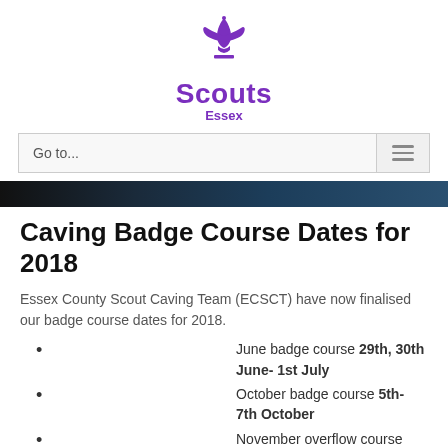[Figure (logo): Scouts Essex logo with fleur-de-lis symbol in purple, text 'Scouts' in bold purple and 'Essex' in smaller purple text below]
Go to...
[Figure (photo): Dark banner image strip showing a caving scene]
Caving Badge Course Dates for 2018
Essex County Scout Caving Team (ECSCT) have now finalised our badge course dates for 2018.
June badge course 29th, 30th June- 1st July
October badge course 5th- 7th October
November overflow course 9th- 11th November